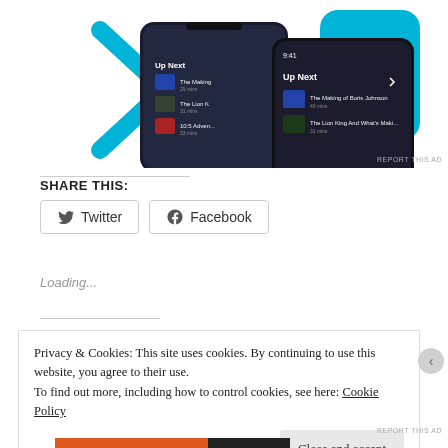[Figure (screenshot): Advertisement showing Apple TV app on two smartphones with 'Up Next' queue visible, blue decorative arrows in background]
REPORT THIS AD
SHARE THIS:
[Figure (other): Twitter share button]
[Figure (other): Facebook share button]
Loading...
Privacy & Cookies: This site uses cookies. By continuing to use this website, you agree to their use.
To find out more, including how to control cookies, see here: Cookie Policy
Close and accept
REPORT THIS AD